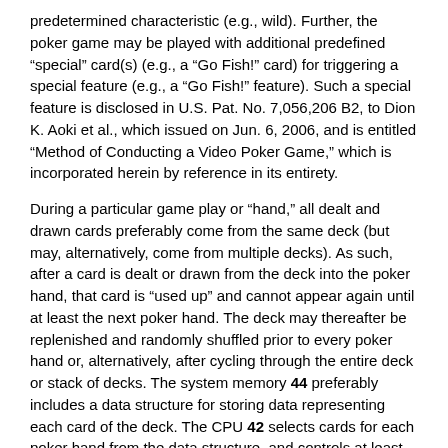predetermined characteristic (e.g., wild). Further, the poker game may be played with additional predefined "special" card(s) (e.g., a "Go Fish!" card) for triggering a special feature (e.g., a "Go Fish!" feature). Such a special feature is disclosed in U.S. Pat. No. 7,056,206 B2, to Dion K. Aoki et al., which issued on Jun. 6, 2006, and is entitled "Method of Conducting a Video Poker Game," which is incorporated herein by reference in its entirety.
During a particular game play or "hand," all dealt and drawn cards preferably come from the same deck (but may, alternatively, come from multiple decks). As such, after a card is dealt or drawn from the deck into the poker hand, that card is "used up" and cannot appear again until at least the next poker hand. The deck may thereafter be replenished and randomly shuffled prior to every poker hand or, alternatively, after cycling through the entire deck or stack of decks. The system memory 44 preferably includes a data structure for storing data representing each card of the deck. The CPU 42 selects cards for each poker hand from the data structure, and controls at least one of the displays 14, 16 to display the cards.